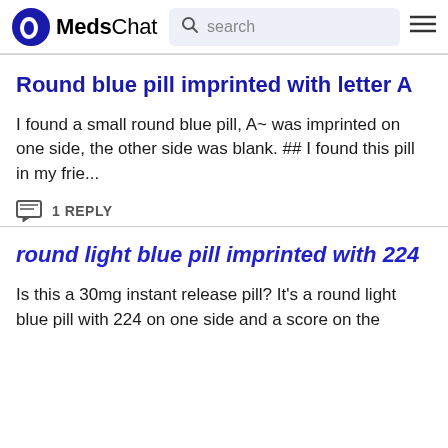MedsChat | search
Round blue pill imprinted with letter A
I found a small round blue pill, A~ was imprinted on one side, the other side was blank. ## I found this pill in my frie...
1 REPLY
round light blue pill imprinted with 224
Is this a 30mg instant release pill? It's a round light blue pill with 224 on one side and a score on the